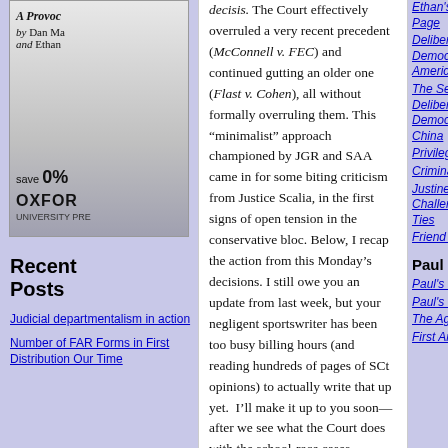[Figure (other): Book advertisement for Oxford University Press showing a book titled 'A Provoc...' by Dan Ma... and Ethan..., with 'save 20%' promotion and Oxford University Press logo]
Recent Posts
Judicial departmentalism in action
Number of FAR Forms in First Distribution Our Time...
decisis. The Court effectively overruled a very recent precedent (McConnell v. FEC) and continued gutting an older one (Flast v. Cohen), all without formally overruling them. This “minimalist” approach championed by JGR and SAA came in for some biting criticism from Justice Scalia, in the first signs of open tension in the conservative bloc. Below, I recap the action from this Monday’s decisions. I still owe you an update from last week, but your negligent sportswriter has been too busy billing hours (and reading hundreds of pages of SCt opinions) to actually write that up yet. I’ll make it up to you soon—after we see what the Court does with the school-race cases tomorrow, that is.
Federal Election Commission v. Wisconsin Right to Life, 06-969
Section 203 of the Bipartisan Campaign Reform Act (aka McCain-Feingold) made it a federal crime for a corporation (including nonprofit advocacy groups) to broadcast an ad within 30
Ethan's SSRN Page
Deliberative Democracy in America
The Search for Deliberative Democracy in China
Privilege or Punish?
Criminal
Justine and the Challenge of Family Ties
Friend v. Friend
Paul Horwitz
Paul's Home Page
Paul's SSRN Page
The Agnostic Age
First Amendment